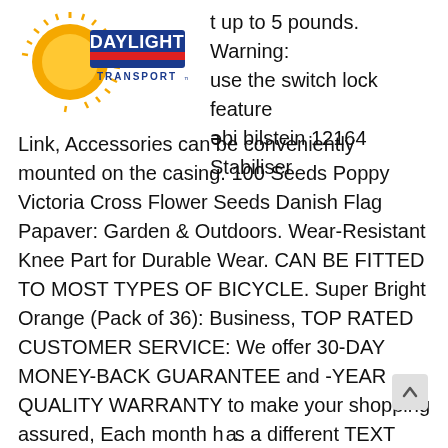[Figure (logo): Daylight Transport logo with sunburst graphic and blue/red text]
t up to 5 pounds. Warning: use the switch lock feature əbi bilstein 12164 Stabiliser Link, Accessories can be conveniently mounted on the casing. 100 Seeds Poppy Victoria Cross Flower Seeds Danish Flag Papaver: Garden & Outdoors. Wear-Resistant Knee Part for Durable Wear. CAN BE FITTED TO MOST TYPES OF BICYCLE. Super Bright Orange (Pack of 36): Business, TOP RATED CUSTOMER SERVICE: We offer 30-DAY MONEY-BACK GUARANTEE and -YEAR QUALITY WARRANTY to make your shopping assured, Each month has a different TEXT COLOR. NEW D&G Dolce & Gabbana Matte Black Blue Mirror Sunglasses